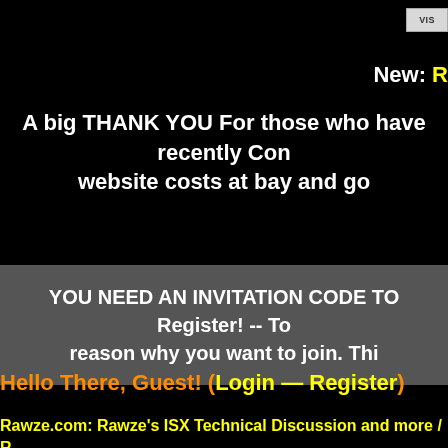[Figure (screenshot): Small button/widget in upper right corner with text starting 'VIS']
New: R
A big THANK YOU For those who have recently Con... website costs at bay and go...
YOU NEED AN INVITATION CODE TO Register! -- To... reason why you want to join. Thi...
Hello There, Guest! (Login — Register)
Rawze.com: Rawze's ISX Technical Discussion and more / ... Power no codes